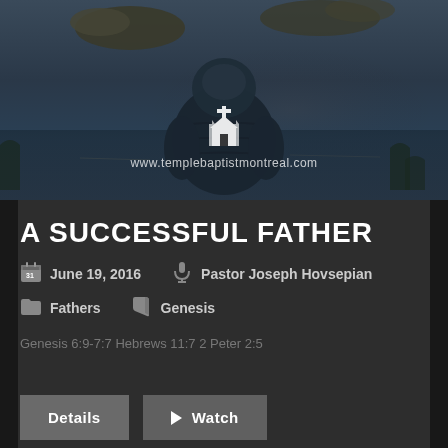[Figure (photo): A person in a dark puffer jacket seen from behind, standing near water with floating rock islands and a sky reflected in the water. White church icon and watermark text 'www.templebaptistmontreal.com' overlaid on the image.]
A SUCCESSFUL FATHER
June 19, 2016   Pastor Joseph Hovsepian
Fathers   Genesis
Genesis 6:9-7:7 Hebrews 11:7 2 Peter 2:5
Details   Watch